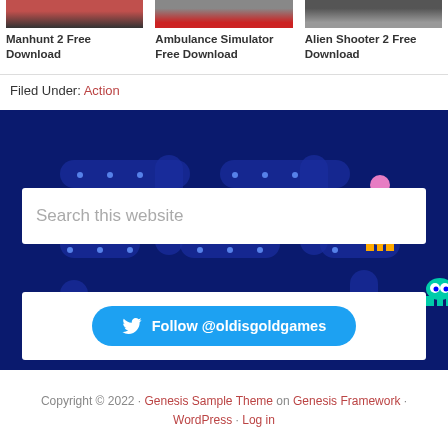[Figure (screenshot): Three game thumbnails: Manhunt 2, Ambulance Simulator, Alien Shooter 2]
Manhunt 2 Free Download
Ambulance Simulator Free Download
Alien Shooter 2 Free Download
Filed Under: Action
[Figure (screenshot): Pac-Man arcade game background with blue maze, dots, ghosts and Pac-Man character]
Search this website
Follow @oldisgoldgames
Copyright © 2022 · Genesis Sample Theme on Genesis Framework · WordPress · Log in